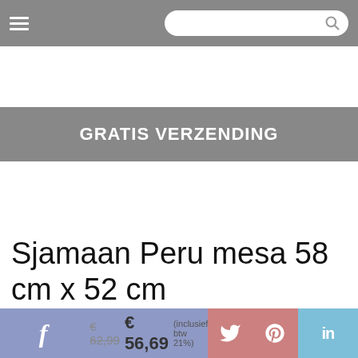[Figure (screenshot): Mobile website navigation bar with hamburger menu icon on left and search bar with magnifying glass on right, grey background]
GRATIS VERZENDING
Sjamaan Peru mesa 58 cm x 52 cm
€ 62,99  € 56,69  (inclusief btw 21%)